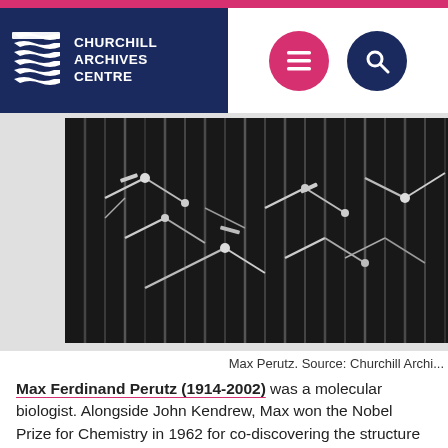Churchill Archives Centre
[Figure (photo): Black and white photograph of molecular model structure, vertical rods and connecting elements — related to Max Perutz's haemoglobin research. Source: Churchill Archives Centre.]
Max Perutz. Source: Churchill Archi...
Max Ferdinand Perutz (1914-2002) was a molecular biologist. Alongside John Kendrew, Max won the Nobel Prize for Chemistry in 1962 for co-discovering the structure of haemoglobin which